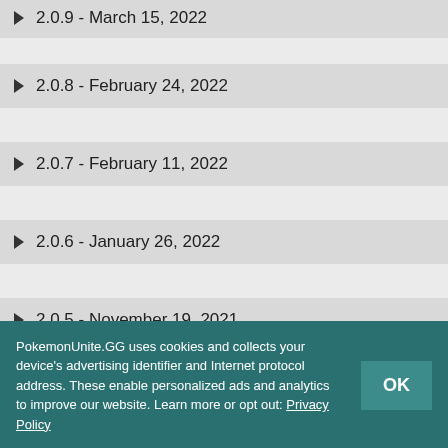▶ 2.0.9 - March 15, 2022
▶ 2.0.8 - February 24, 2022
▶ 2.0.7 - February 11, 2022
▶ 2.0.6 - January 26, 2022
▶ 2.0.5 - November 19, 2021
▶ 2.0.4 - October 5, 2021
PokemonUnite.GG uses cookies and collects your device's advertising identifier and Internet protocol address. These enable personalized ads and analytics to improve our website. Learn more or opt out: Privacy Policy